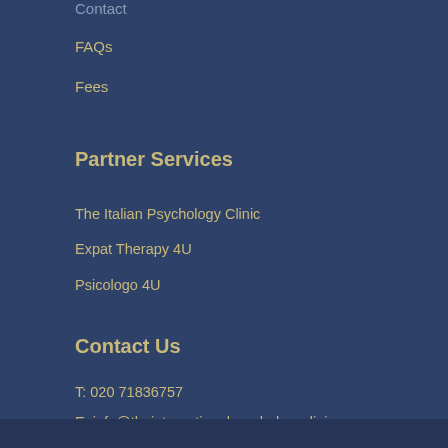Contact
FAQs
Fees
Partner Services
The Italian Psychology Clinic
Expat Therapy 4U
Psicologo 4U
Contact Us
T: 020 71836757
E: info@theinternationalpsychologyclinic.com